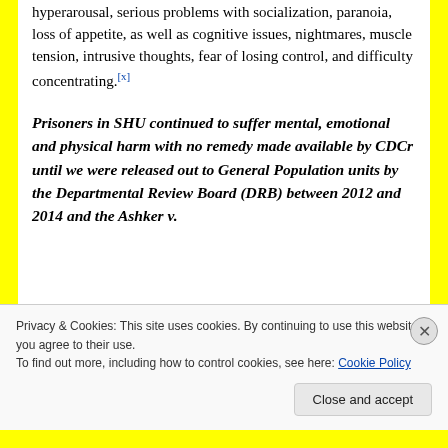hyperarousal, serious problems with socialization, paranoia, loss of appetite, as well as cognitive issues, nightmares, muscle tension, intrusive thoughts, fear of losing control, and difficulty concentrating.[x]
Prisoners in SHU continued to suffer mental, emotional and physical harm with no remedy made available by CDCr until we were released out to General Population units by the Departmental Review Board (DRB) between 2012 and 2014 and the Ashker v.
Privacy & Cookies: This site uses cookies. By continuing to use this website, you agree to their use.
To find out more, including how to control cookies, see here: Cookie Policy